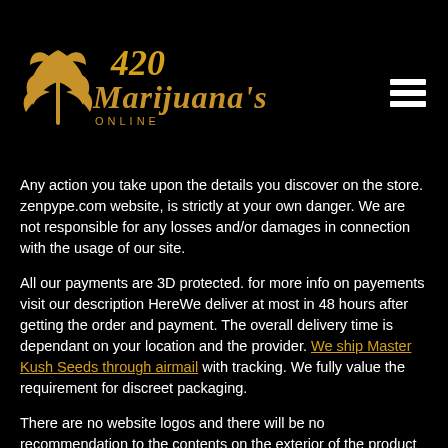[Figure (logo): 420 Marijuana's Online logo with cannabis leaf and golden/amber text on black background, with hamburger menu icon in top right]
Any action you take upon the details you discover on the store. zenpype.com website, is strictly at your own danger. We are not responsible for any losses and/or damages in connection with the usage of our site.
All our payments are 3D protected. for more info on payements visit our description HereWe deliver at most in 48 hours after getting the order and payment. The overall delivery time is dependant on your location and the provider. We ship Master Kush Seeds through airmail with tracking. We fully value the requirement for discreet packaging.
There are no website logos and there will be no recommendation to the contents on the exterior of the product packaging itself. The package will show your address and a return address without Zenpype logos